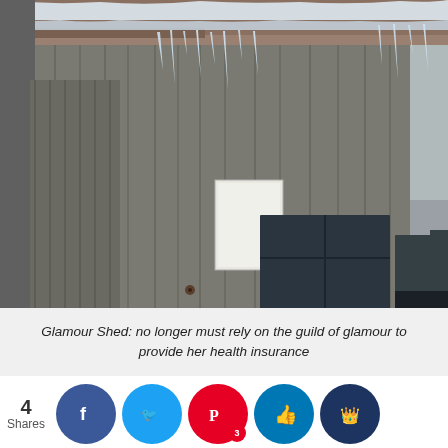[Figure (photo): A weathered wooden shed/building with icicles hanging from a rusty metal roof, in winter conditions. The wood siding is grey and aged, with two dark windows visible and a white note or sign posted on the wall.]
Glamour Shed: no longer must rely on the guild of glamour to provide her health insurance
Healthcare is no longer tied to your job in the United States. Anyone can get healthcare in our country and you don't have to go through an employer to do so. This hasn't always been the case and I, for one, rejoice that a system makes it possible